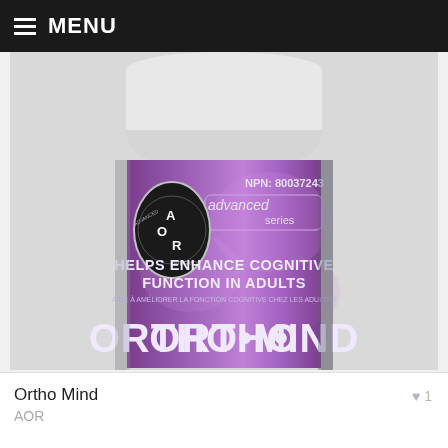MENU
[Figure (photo): AOR Advanced Series Ortho Mind supplement bottle with purple label. Label shows NPN: 80037243, AOR logo (Advanced Orthomolecular Research), text 'HELPS ENHANCE COGNITIVE FUNCTION IN ADULTS', French translation 'AIDE À AMÉLIORER LA FONCTION COGNITIVE CHEZ LES ADULTES', and large product name 'ORTHO·MIND' at the bottom.]
Ortho Mind
AOR
1